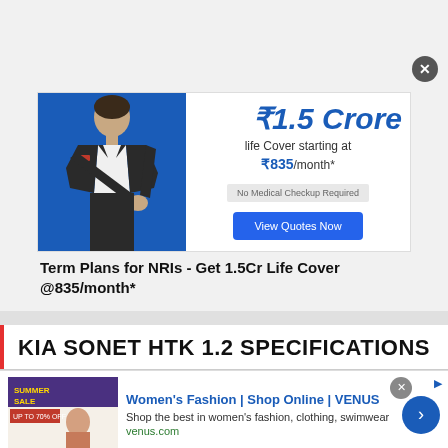[Figure (infographic): Insurance advertisement showing a man in a suit with text '₹1.5 Crore life Cover starting at ₹835/month*', a 'No Medical Checkup Required' badge, and a 'View Quotes Now' blue button on a blue and white background.]
Term Plans for NRIs - Get 1.5Cr Life Cover @835/month*
KIA SONET HTK 1.2 SPECIFICATIONS
[Figure (screenshot): Women's Fashion advertisement for VENUS brand showing 'Women's Fashion | Shop Online | VENUS', 'Shop the best in women's fashion, clothing, swimwear', 'venus.com', with a Summer Sale image thumbnail and a blue arrow button.]